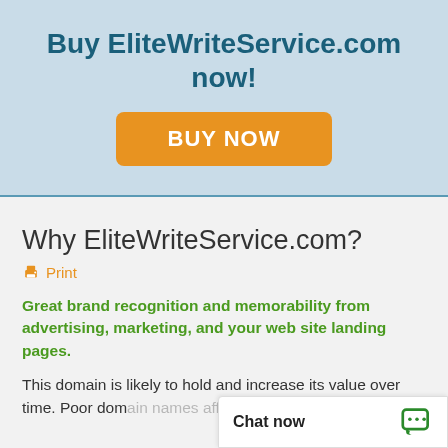Buy EliteWriteService.com now!
[Figure (other): Orange 'BUY NOW' button on light blue background]
Why EliteWriteService.com?
Print
Great brand recognition and memorability from advertising, marketing, and your web site landing pages.
This domain is likely to hold and increase its value over time. Poor dom... customer conversio...
Chat now